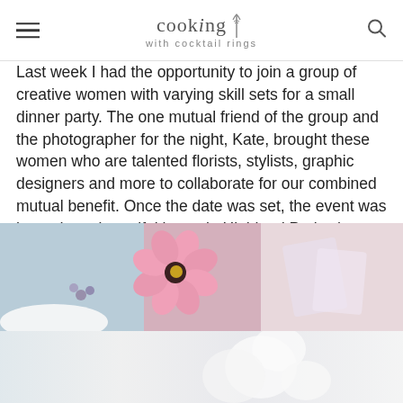cooking with cocktail rings
Last week I had the opportunity to join a group of creative women with varying skill sets for a small dinner party. The one mutual friend of the group and the photographer for the night, Kate, brought these women who are talented florists, stylists, graphic designers and more to collaborate for our combined mutual benefit. Once the date was set, the event was hosted at a beautiful home in Highland Park where we ate, laughed, crafted and had the opportunity to connect with other creative minds.
[Figure (photo): Close-up photo of pink ranunculus flower and soft pastel table setting items]